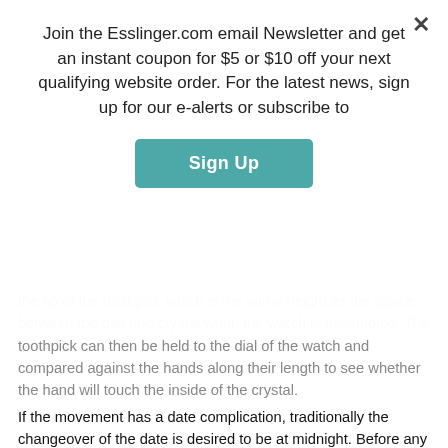Join the Esslinger.com email Newsletter and get an instant coupon for $5 or $10 off your next qualifying website order. For the latest news, sign up for our e-alerts or subscribe to
[Figure (other): Sign Up button (teal/blue-green rounded rectangle)]
the tip of the toothpick which is the same height as the space between the dial and crystal when the watch is assembled. The toothpick can then be held to the dial of the watch and compared against the hands along their length to see whether the hand will touch the inside of the crystal. If the movement has a date complication, traditionally the changeover of the date is desired to be at midnight. Before any of the hands are installed, pull the crown out and adjust the time forward slowly until the date changes, and then the hour hand installed directly to 12. The minute hand can then either be installed directly following, or the time can be further dialed forward until the hour hand directly aligns on another hour (often 3, 6, or 9 for ease of identifying alignment by eye) which can be useful if the hour hand has a tendency to jump slightly when the